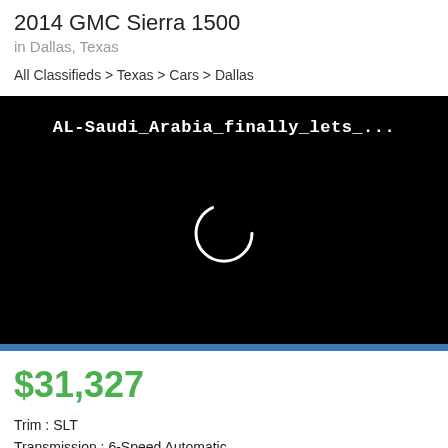2014 GMC Sierra 1500
in Dallas, Texas
All Classifieds > Texas > Cars > Dallas
[Figure (screenshot): Video player with black background showing title 'AL-Saudi_Arabia_finally_lets_...' and a loading spinner circle in the center]
$31,327
Trim : SLT
Transmission : 6-Speed Automatic